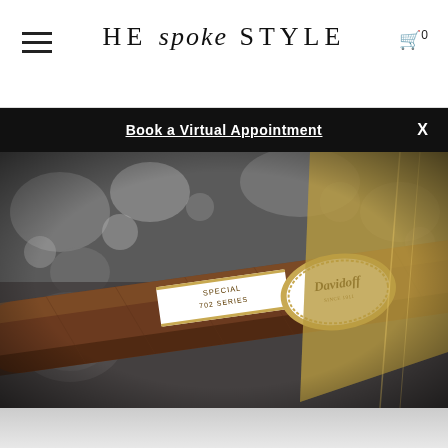HE spoke STYLE — navigation header with hamburger menu and cart icon showing 0
Book a Virtual Appointment   X
[Figure (photo): Close-up product photo of a Davidoff Special Series 702 cigar with white and gold band, resting on dark fabric with blurred metallic objects in the background. The cigar band reads 'Davidoff' in script on an oval white label and 'SPECIAL' and '702 SERIES' on a rectangular white band.]
[Figure (photo): Bottom portion showing a light grey/white blurred background, partial fade from the cigar photo above.]